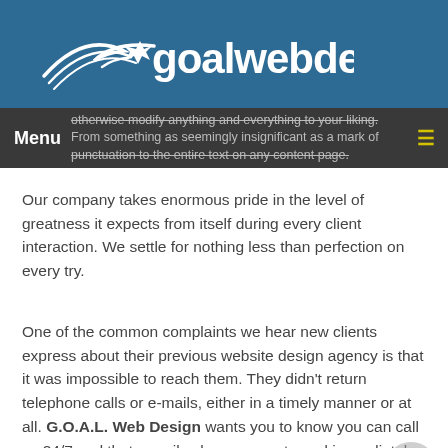[Figure (logo): goalwebdesign logo with white star/swoosh graphic on teal/blue background header bar]
Menu | otherwise modify anything and everything to your liking. From something as seemingly insignificant as a mark of punctuation to the entire text on any content page.
Our company takes enormous pride in the level of greatness it expects from itself during every client interaction. We settle for nothing less than perfection on every try.
One of the common complaints we hear new clients express about their previous website design agency is that it was impossible to reach them. They didn't return telephone calls or e-mails, either in a timely manner or at all. G.O.A.L. Web Design wants you to know you can call us 24/7 and that e-mails always are returned immediately. We also guarantee requested updates to